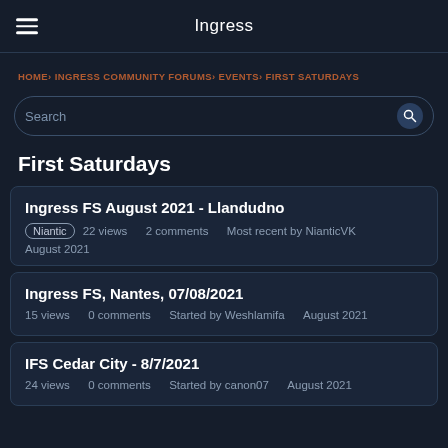Ingress
HOME › INGRESS COMMUNITY FORUMS › EVENTS › FIRST SATURDAYS
First Saturdays
Ingress FS August 2021 - Llandudno
Niantic  22 views  2 comments  Most recent by NianticVK  August 2021
Ingress FS, Nantes, 07/08/2021
15 views  0 comments  Started by Weshlamifa  August 2021
IFS Cedar City - 8/7/2021
24 views  0 comments  Started by canon07  August 2021